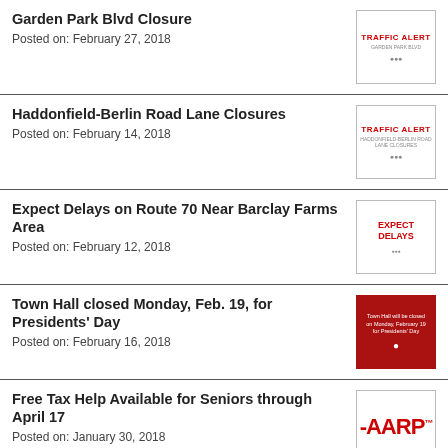Garden Park Blvd Closure
Posted on: February 27, 2018
[Figure (other): Traffic Alert thumbnail image with red text and logo]
Haddonfield-Berlin Road Lane Closures
Posted on: February 14, 2018
[Figure (other): Traffic Alert thumbnail image with red text and logo]
Expect Delays on Route 70 Near Barclay Farms Area
Posted on: February 12, 2018
[Figure (other): Expect Delays thumbnail with red bold text]
Town Hall closed Monday, Feb. 19, for Presidents' Day
Posted on: February 16, 2018
[Figure (other): Red background thumbnail with white text about Town Hall closure]
Free Tax Help Available for Seniors through April 17
Posted on: January 30, 2018
[Figure (logo): AARP logo in red]
Weather Conditions Impact Trash & Recycling Pick-Up
[Figure (photo): Photo thumbnail related to weather/trash conditions]